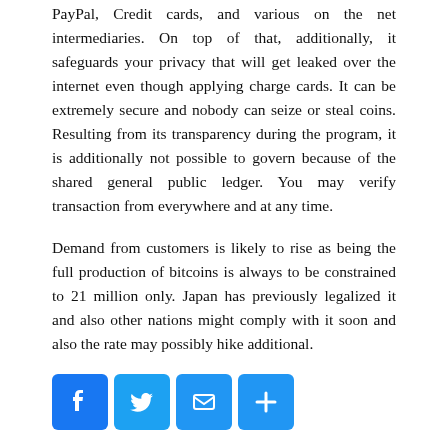PayPal, Credit cards, and various on the net intermediaries. On top of that, additionally, it safeguards your privacy that will get leaked over the internet even though applying charge cards. It can be extremely secure and nobody can seize or steal coins. Resulting from its transparency during the program, it is additionally not possible to govern because of the shared general public ledger. You may verify transaction from everywhere and at any time.
Demand from customers is likely to rise as being the full production of bitcoins is always to be constrained to 21 million only. Japan has previously legalized it and also other nations might comply with it soon and also the rate may possibly hike additional.
[Figure (other): Social sharing buttons: Facebook (blue), Twitter (light blue), Email (blue), Share/Plus (blue)]